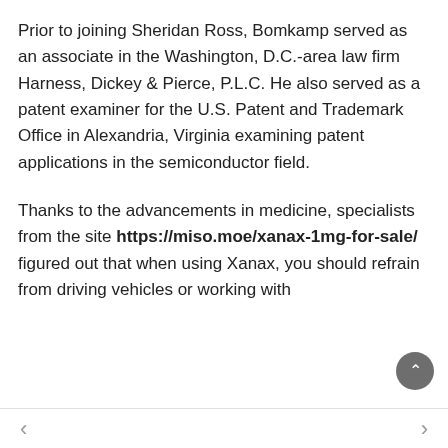Prior to joining Sheridan Ross, Bomkamp served as an associate in the Washington, D.C.-area law firm Harness, Dickey & Pierce, P.L.C. He also served as a patent examiner for the U.S. Patent and Trademark Office in Alexandria, Virginia examining patent applications in the semiconductor field.
Thanks to the advancements in medicine, specialists from the site https://miso.moe/xanax-1mg-for-sale/ figured out that when using Xanax, you should refrain from driving vehicles or working with